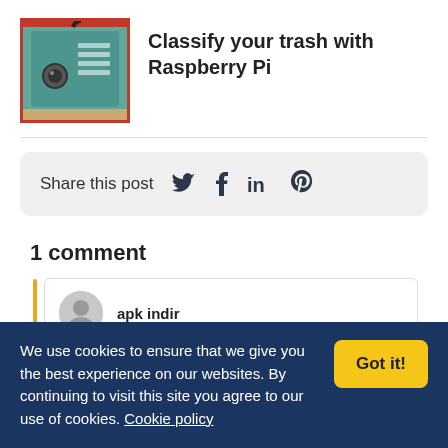[Figure (photo): A teal/green colored Raspberry Pi device with red border and cables, sitting on a surface.]
Classify your trash with Raspberry Pi
Share this post
1 comment
apk indir
We use cookies to ensure that we give you the best experience on our websites. By continuing to visit this site you agree to our use of cookies. Cookie policy